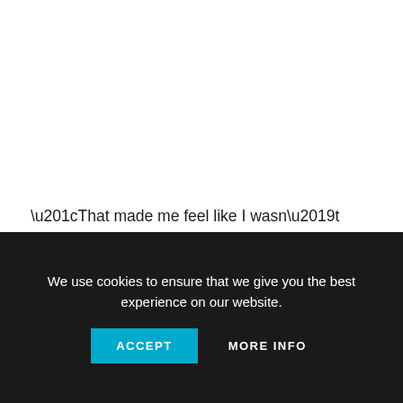“That made me feel like I wasn’t worthy,” Hussin told CBC News. “I could never treat anyone like that under any circumstance.”
The incident is the latest in a spate of cases in Canada where Indigenous people have faced discrimination from health-care staff and law enforcement and security officers. In one case, that of Joyce Echaquan, a coroner’s inquest examining her treatment at a Quebec hospital ended Wednesday.
We use cookies to ensure that we give you the best experience on our website.